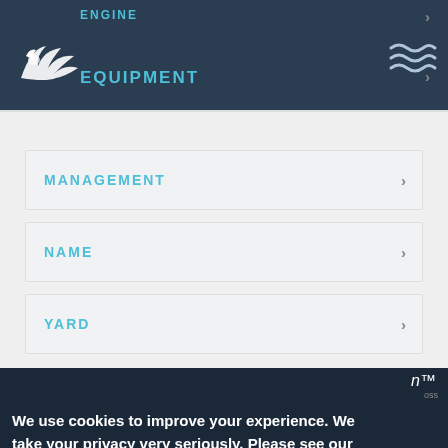ENGINE | EQUIPMENT
MANAGEMENT
NAME
YARD
We use cookies to improve your experience. We take your privacy very seriously. Please see our privacy policy for details and any questions.
Learn more
Opt-out
Allow cookies